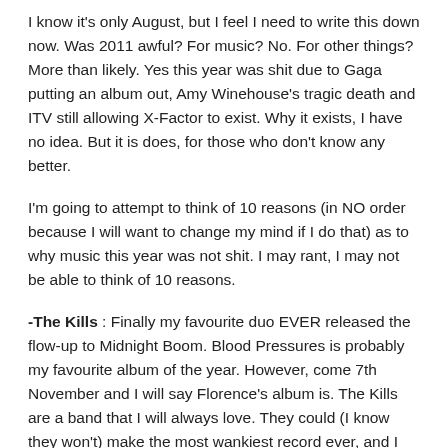I know it's only August, but I feel I need to write this down now. Was 2011 awful? For music? No. For other things? More than likely. Yes this year was shit due to Gaga putting an album out, Amy Winehouse's tragic death and ITV still allowing X-Factor to exist. Why it exists, I have no idea. But it is does, for those who don't know any better.
I'm going to attempt to think of 10 reasons (in NO order because I will want to change my mind if I do that) as to why music this year was not shit. I may rant, I may not be able to think of 10 reasons.
-The Kills : Finally my favourite duo EVER released the flow-up to Midnight Boom. Blood Pressures is probably my favourite album of the year. However, come 7th November and I will say Florence's album is. The Kills are a band that I will always love. They could (I know they won't) make the most wankiest record ever, and I would still find something to love about it. Blood Pressures has a bluesy feel to it but still has the same raw vibe No Wow and Keep On Your Mean Side have. The Last Goodbye is the saddest song I've heard this year. If a song could break your heart, that would be it. The lyrics to Baby Says are stunning. I just ove how Jamie and Alison's voices fit together. I